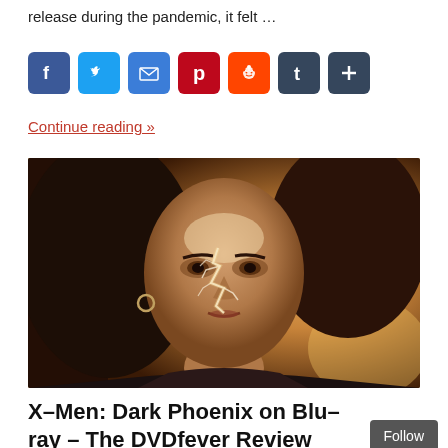release during the pandemic, it felt …
[Figure (infographic): Social media share icons: Facebook (blue), Twitter (blue bird), Email (blue envelope), Pinterest (red P), Reddit (orange alien), Tumblr (dark teal t), Plus/more (dark teal +)]
Continue reading »
[Figure (photo): Movie still from X-Men: Dark Phoenix showing a young woman with dark hair, cracked glowing skin on her face, looking intensely at the camera against a warm orange/amber background]
X-Men: Dark Phoenix on Blu-ray – The DVDfever Review